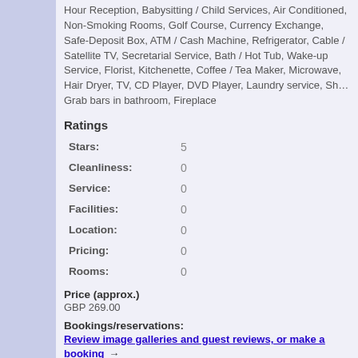Hour Reception, Babysitting / Child Services, Air Conditioned, Non-Smoking Rooms, Golf Course, Currency Exchange, Safe-Deposit Box, ATM / Cash Machine, Refrigerator, Cable / Satellite TV, Secretarial Service, Bath / Hot Tub, Wake-up Service, Florist, Kitchenette, Coffee / Tea Maker, Microwave, Hair Dryer, TV, CD Player, DVD Player, Laundry service, Sh... Grab bars in bathroom, Fireplace
Ratings
| Rating Category | Value |
| --- | --- |
| Stars: | 5 |
| Cleanliness: | 0 |
| Service: | 0 |
| Facilities: | 0 |
| Location: | 0 |
| Pricing: | 0 |
| Rooms: | 0 |
Price (approx.)
GBP 269.00
Bookings/reservations:
Review image galleries and guest reviews, or make a booking →